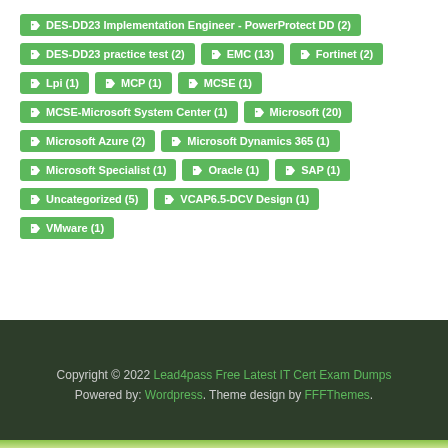DES-DD23 Implementation Engineer - PowerProtect DD (2)
DES-DD23 practice test (2)
EMC (13)
Fortinet (2)
Lpi (1)
MCP (1)
MCSE (1)
MCSE-Microsoft System Center (1)
Microsoft (20)
Microsoft Azure (2)
Microsoft Dynamics 365 (1)
Microsoft Specialist (1)
Oracle (1)
SAP (1)
Uncategorized (5)
VCAP6.5-DCV Design (1)
VMware (1)
Copyright © 2022 Lead4pass Free Latest IT Cert Exam Dumps
Powered by: Wordpress. Theme design by FFFThemes.